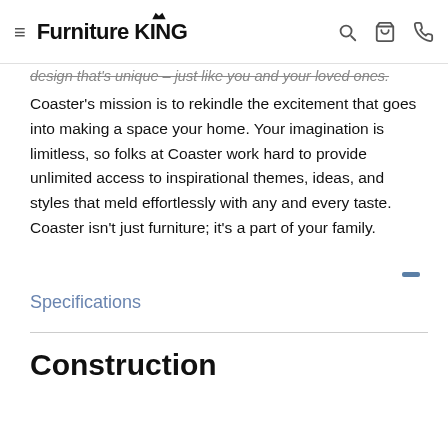Furniture King
design that's unique – just like you and your loved ones. Coaster's mission is to rekindle the excitement that goes into making a space your home. Your imagination is limitless, so folks at Coaster work hard to provide unlimited access to inspirational themes, ideas, and styles that meld effortlessly with any and every taste. Coaster isn't just furniture; it's a part of your family.
Specifications
Construction
| Handle Color: | Silver |
| --- | --- |
| Handle Color: | Silver |